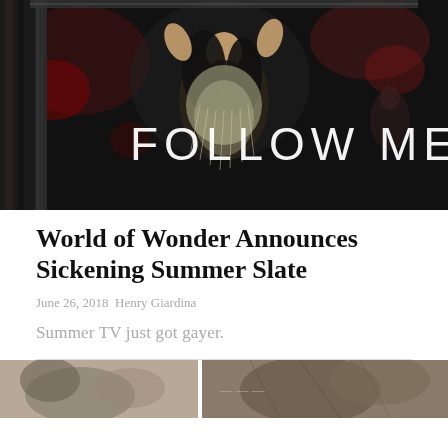[Figure (photo): A performer on a dark stage wearing a sparkling costume with fringe, arms raised, with the text 'FOLLOW ME' overlaid in large white letters on the lower portion of the image.]
World of Wonder Announces Sickening Summer Slate
June 26, 2018  Henry Giardina
Summer TV just got gayer.
[Figure (photo): Partially visible image at the bottom of the page, cut off, showing what appears to be performers or entertainers.]